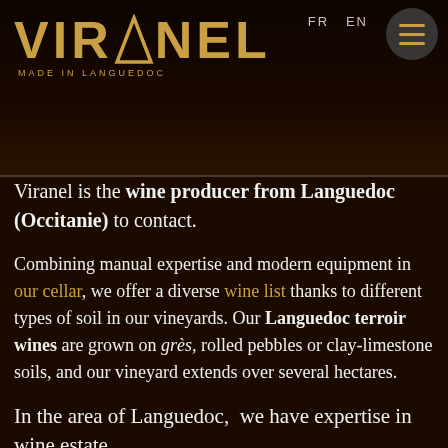[Figure (logo): Viranel wine producer logo with golden text 'VIRANEL' and tagline 'MADE IN LANGUEDOC' on dark background, with FR EN language toggle and hamburger menu icon]
Viranel is the wine producer from Languedoc (Occitanie) to contact.
Combining manual expertise and modern equipment in our cellar, we offer a diverse wine list thanks to different types of soil in our vineyards. Our Languedoc terroir wines are grown on grès, rolled pebbles or clay-limestone soils, and our vineyard extends over several hectares.
In the area of Languedoc, we have expertise in wine estate
If you are looking for wine estate or outstanding Languedoc wines, our expertise in wine estate will